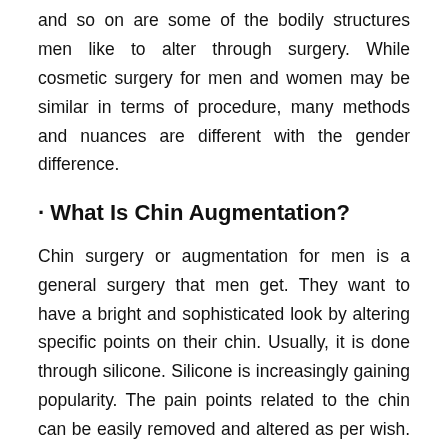and so on are some of the bodily structures men like to alter through surgery. While cosmetic surgery for men and women may be similar in terms of procedure, many methods and nuances are different with the gender difference.
• What Is Chin Augmentation?
Chin surgery or augmentation for men is a general surgery that men get. They want to have a bright and sophisticated look by altering specific points on their chin. Usually, it is done through silicone. Silicone is increasingly gaining popularity. The pain points related to the chin can be easily removed and altered as per wish. The customization makes the process smooth and tasteful as per the person. The fat and silicone used in cosmetic surgery are not toxic and easily adjust with the body. The